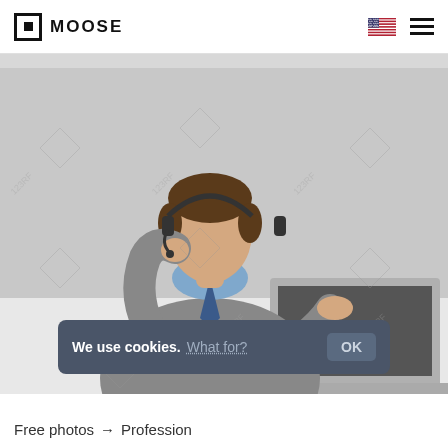MOOSE
[Figure (photo): Man wearing a headset and gray sweater with blue shirt and tie, sitting at a desk typing on a laptop, against a light gray background with stock photo watermarks]
We use cookies. What for? OK
Free photos → Profession